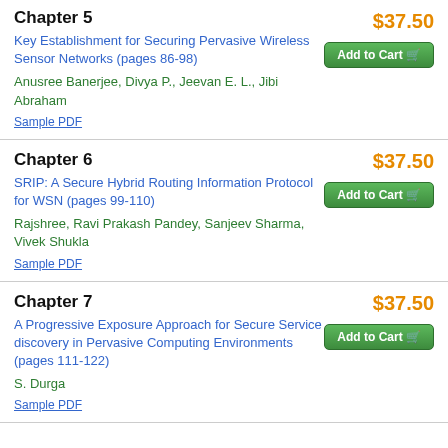Chapter 5
$37.50
Key Establishment for Securing Pervasive Wireless Sensor Networks (pages 86-98)
Add to Cart
Anusree Banerjee, Divya P., Jeevan E. L., Jibi Abraham
Sample PDF
Chapter 6
$37.50
SRIP: A Secure Hybrid Routing Information Protocol for WSN (pages 99-110)
Add to Cart
Rajshree, Ravi Prakash Pandey, Sanjeev Sharma, Vivek Shukla
Sample PDF
Chapter 7
$37.50
A Progressive Exposure Approach for Secure Service discovery in Pervasive Computing Environments (pages 111-122)
Add to Cart
S. Durga
Sample PDF